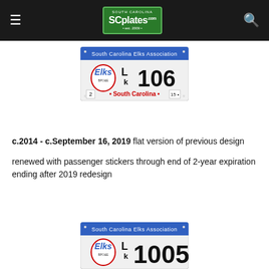SCplates.com est. 2009
[Figure (photo): South Carolina Elks Association license plate with blue header, Elks logo, designation L/k 106, and South Carolina text at bottom with sticker number 2 and tab 15]
c.2014 - c.September 16, 2019  flat version of previous design
renewed with passenger stickers through end of 2-year expiration ending after 2019 redesign
[Figure (photo): South Carolina Elks Association license plate with blue header, Elks logo, designation L/k 1005 (partially visible)]